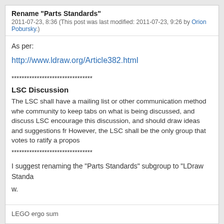Rename "Parts Standards"
2011-07-23, 8:36 (This post was last modified: 2011-07-23, 9:26 by Orion Pobursky.)
As per:
http://www.ldraw.org/Article382.html
********************************
LSC Discussion
The LSC shall have a mailing list or other communication method whe community to keep tabs on what is being discussed, and discuss LS encourage this discussion, and should draw ideas and suggestions fr However, the LSC shall be the only group that votes to ratify a propos
********************************
I suggest renaming the "Parts Standards" subgroup to "LDraw Standa
w.
LEGO ergo sum